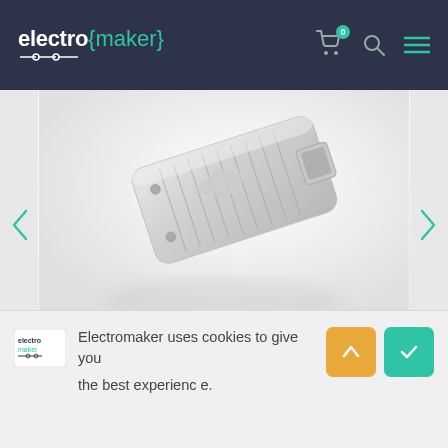electro{maker}
[Figure (photo): Close-up product photo of a silver/metallic Coral USB Accelerator or similar TPU device with ridged heatsink design, shown at an angle on a white background]
Google Announces Tensor Processing Unit Accelerator for Raspberry Pi
By Moe Long
Electromaker uses cookies to give you the best experience.